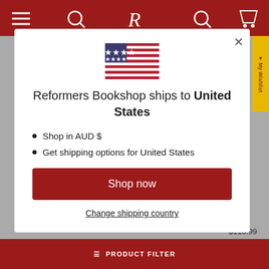[Figure (screenshot): Website header bar with dark red background, hamburger menu icon, search icon, R logo, account icon, and cart icon]
[Figure (illustration): United States flag emoji/icon]
Reformers Bookshop ships to United States
Shop in AUD $
Get shipping options for United States
Shop now
Change shipping country